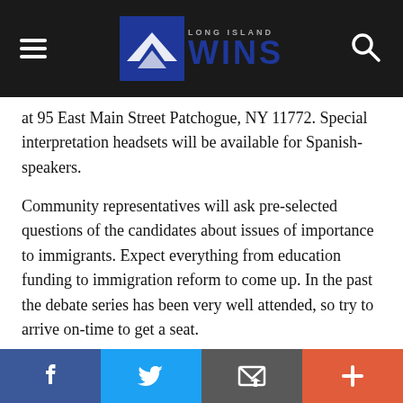Long Island Wins
at 95 East Main Street Patchogue, NY 11772. Special interpretation headsets will be available for Spanish-speakers.
Community representatives will ask pre-selected questions of the candidates about issues of importance to immigrants. Expect everything from education funding to immigration reform to come up. In the past the debate series has been very well attended, so try to arrive on-time to get a seat.
The First Congressional District includes areas like Smithtown, Coram, Medford, Patchogue, Riverhead, and the entire East End. According to the latest Census figures, it has a growing immigrant population. One-in-six people living in the First
Facebook | Twitter | Email | More